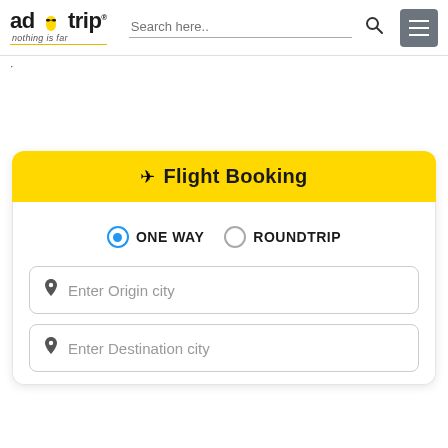adotrip - nothing is far | Search here..
✈ Flight Booking
ONE WAY   ROUNDTRIP
Enter Origin city
Enter Destination city